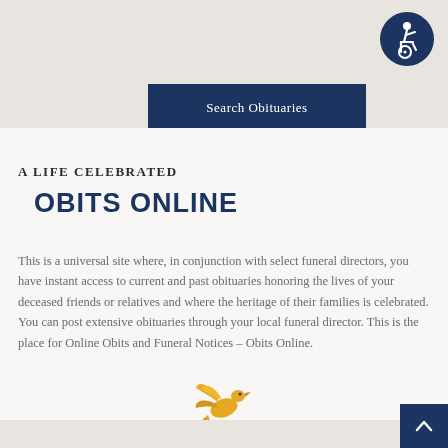[Figure (logo): Accessibility icon: wheelchair symbol in white on dark navy blue circle, top-right corner]
Search Obituaries
A Life Celebrated
OBITS ONLINE
This is a universal site where, in conjunction with select funeral directors, you have instant access to current and past obituaries honoring the lives of your deceased friends or relatives and where the heritage of their families is celebrated. You can post extensive obituaries through your local funeral director. This is the place for Online Obits and Funeral Notices – Obits Online.
[Figure (illustration): Golden/yellow dove bird illustration with wings spread, flying upward]